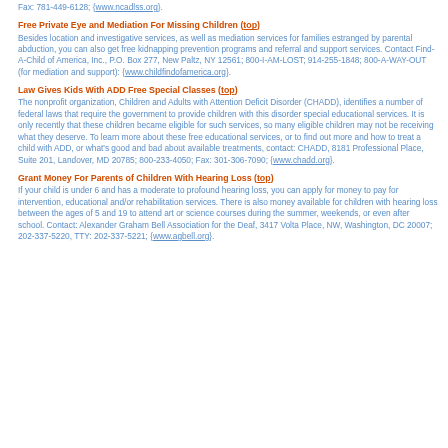Fax: 781-449-6128; {www.ncadlss.org}.
Free Private Eye and Mediation For Missing Children (top)
Besides location and investigative services, as well as mediation services for families estranged by parental abduction, you can also get free kidnapping prevention programs and referral and support services. Contact Find-A-Child of America, Inc., P.O. Box 277, New Paltz, NY 12561; 800-I-AM-LOST; 914-255-1848; 800-A-WAY-OUT (for mediation and support): {www.childfindofamerica.org}.
Law Gives Kids With ADD Free Special Classes (top)
The nonprofit organization, Children and Adults with Attention Deficit Disorder (CHADD), identifies a number of federal laws that require the government to provide children with this disorder special educational services. It is only recently that these children became eligible for such services, so many eligible children may not be receiving what they deserve. To learn more about these free educational services, or to find out more and how to treat a child with ADD, or what's good and bad about available treatments, contact: CHADD, 8181 Professional Place, Suite 201, Landover, MD 20785; 800-233-4050; Fax: 301-306-7090; {www.chadd.org}.
Grant Money For Parents of Children With Hearing Loss (top)
If your child is under 6 and has a moderate to profound hearing loss, you can apply for money to pay for intervention, educational and/or rehabilitation services. There is also money available for children with hearing loss between the ages of 5 and 19 to attend art or science courses during the summer, weekends, or even after school. Contact: Alexander Graham Bell Association for the Deaf, 3417 Volta Place, NW, Washington, DC 20007; 202-337-5220, TTY: 202-337-5221; {www.agbell.org}.